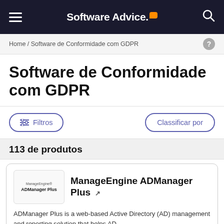Software Advice
Home / Software de Conformidade com GDPR
Software de Conformidade com GDPR
Filtros
Classificar por
113 de produtos
ManageEngine ADManager Plus
ADManager Plus is a web-based Active Directory (AD) management and reporting solution that helps AD